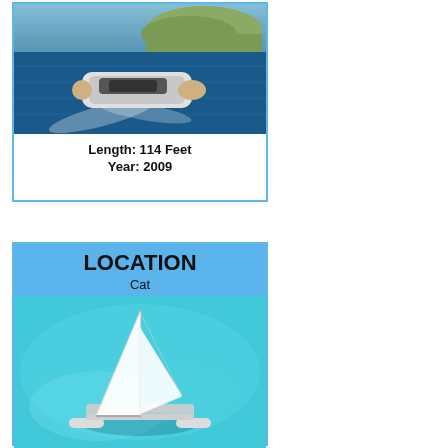[Figure (photo): Aerial view of a large motor yacht cruising in blue sea near an island, shown from above and slightly behind, with white wake trailing. Length: 114 Feet, Year: 2009.]
Length: 114 Feet
Year: 2009
LOCATION
Cat
[Figure (photo): Aerial view of a white sailing catamaran on turquoise shallow water, with large white sails fully deployed.]